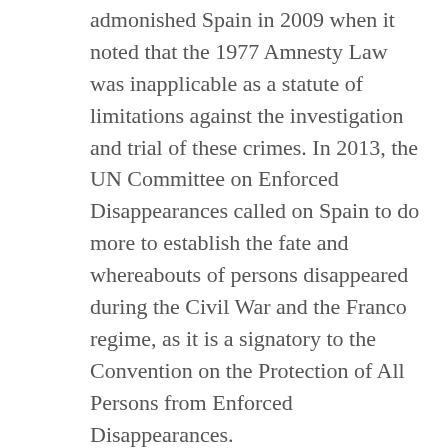admonished Spain in 2009 when it noted that the 1977 Amnesty Law was inapplicable as a statute of limitations against the investigation and trial of these crimes. In 2013, the UN Committee on Enforced Disappearances called on Spain to do more to establish the fate and whereabouts of persons disappeared during the Civil War and the Franco regime, as it is a signatory to the Convention on the Protection of All Persons from Enforced Disappearances.
There has been an outpouring of Republican memory, but Spain is still finding it difficult, compared to other countries, most notably Germany, to confront its past.
There is nothing in Spain remotely resembling the German Historical Museum in Berlin which sets out 2,000 years of history through 8,000 objects that tell